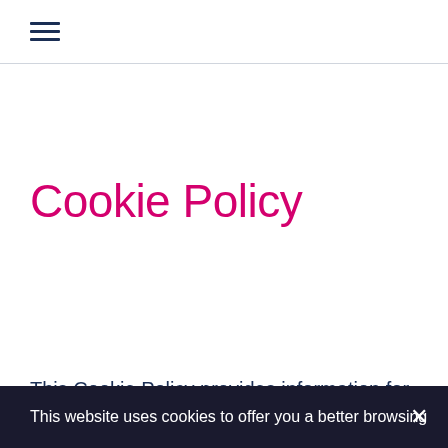☰
Cookie Policy
This Cookie Policy provides information for users on
This website uses cookies to offer you a better browsing